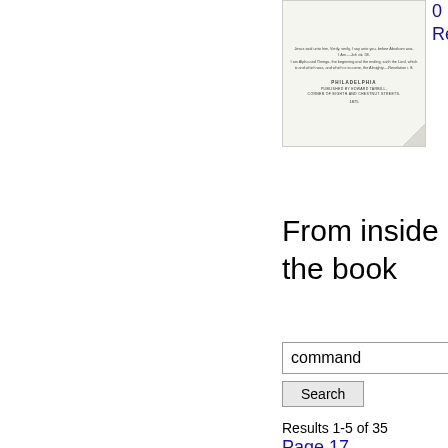[Figure (illustration): Thumbnail image of a book cover with old-style publication text, showing city 'Philadelphia', publisher name, and year 1875, with a page curl effect in the bottom right corner.]
Preview this book
From inside the book
command
Search
Results 1-5 of 35
Page 17
Abraham received his Isaac from the wonder - working hand of Heaven , when nature was dead to hope ; at the command of God he cheerfully surrendered him again , and devoted him 6 9 > < And his eyes